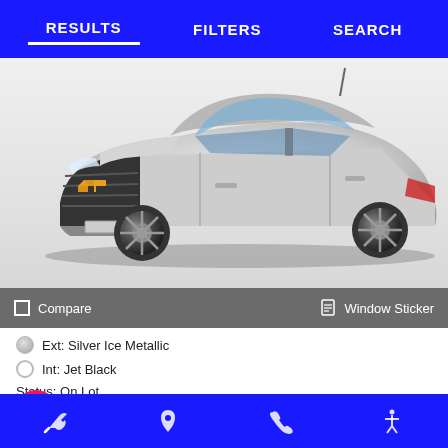RESULTS | FILTERS | SEARCH
[Figure (photo): Silver Chevrolet Trax SUV, front three-quarter view on white background]
Compare   Window Sticker
Ext: Silver Ice Metallic
Int: Jet Black
Status: On Lot
VIN: 3GN...
Trade or Sell?  Start Pre-Order  [wrench icon] [location icon] [phone icon] [accessibility icon]